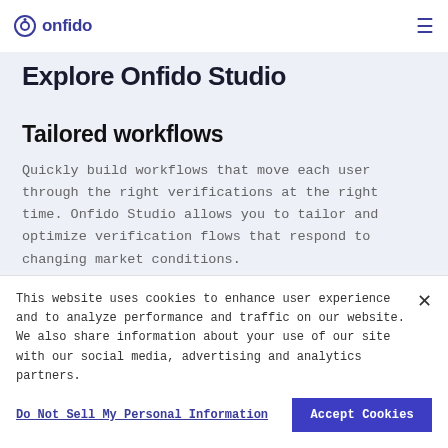onfido
Explore Onfido Studio
Tailored workflows
Quickly build workflows that move each user through the right verifications at the right time. Onfido Studio allows you to tailor and optimize verification flows that respond to changing market conditions.
This website uses cookies to enhance user experience and to analyze performance and traffic on our website. We also share information about your use of our site with our social media, advertising and analytics partners.
Do Not Sell My Personal Information
Accept Cookies